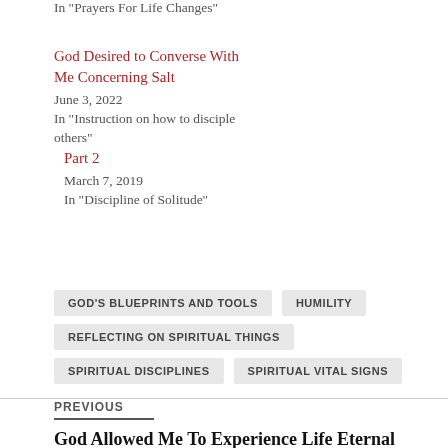In "Prayers For Life Changes"
Part 2
March 7, 2019
In "Discipline of Solitude"
God Desired to Converse With Me Concerning Salt
June 3, 2022
In "Instruction on how to disciple others"
GOD'S BLUEPRINTS AND TOOLS
HUMILITY
REFLECTING ON SPIRITUAL THINGS
SPIRITUAL DISCIPLINES
SPIRITUAL VITAL SIGNS
PREVIOUS
God Allowed Me To Experience Life Eternal